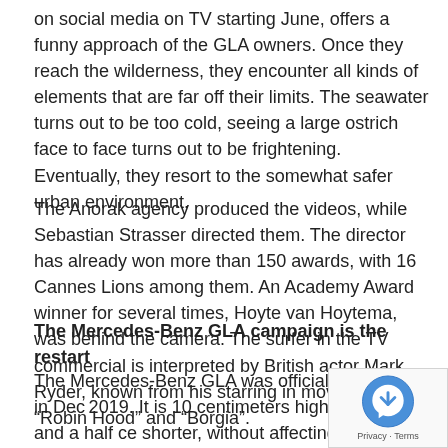on social media on TV starting June, offers a funny approach of the GLA owners. Once they reach the wilderness, they encounter all kinds of elements that are far off their limits. The seawater turns out to be too cold, seeing a large ostrich face to face turns out to be frightening. Eventually, they resort to the somewhat safer urban environment.
The Anorak agency produced the videos, while Sebastian Strasser directed them. The director has already won more than 150 awards, with 16 Cannes Lions among them. An Academy Award winner for several times, Hoyte van Hoytema, was behind the camera. The surfer in the TV commercial is interpreted by British actor Mark Ryder, known from his starring in movies such as “Robin Hood” and “Borgia”.
The Mercedes-Benz GLA campaign is the restart
The Mercedes-Benz GLA was officially revealed in Dec 2019. It is 10 centimeters higher and one and a half ce shorter, without affecting the kneeroom of the rear passengers.